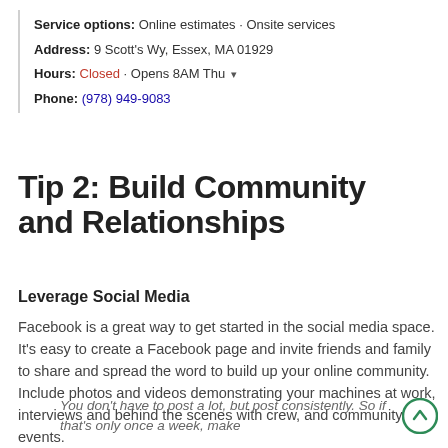Service options: Online estimates · Onsite services
Address: 9 Scott's Wy, Essex, MA 01929
Hours: Closed · Opens 8AM Thu ▾
Phone: (978) 949-9083
Tip 2: Build Community and Relationships
Leverage Social Media
Facebook is a great way to get started in the social media space. It's easy to create a Facebook page and invite friends and family to share and spread the word to build up your online community. Include photos and videos demonstrating your machines at work, interviews and behind the scenes with crew, and community events.
You don't have to post a lot, but post consistently. So if that's only once a week, make